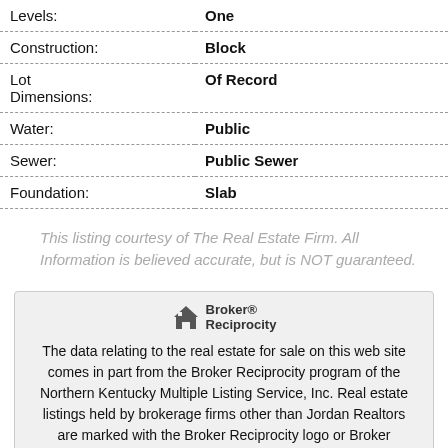| Field | Value |
| --- | --- |
| Levels: | One |
| Construction: | Block |
| Lot Dimensions: | Of Record |
| Water: | Public |
| Sewer: | Public Sewer |
| Foundation: | Slab |
This listing courtesy of The Real Estate Firm. All Information is believed accurate, but is NOT guaranteed.
Broker® Reciprocity
The data relating to the real estate for sale on this web site comes in part from the Broker Reciprocity program of the Northern Kentucky Multiple Listing Service, Inc. Real estate listings held by brokerage firms other than Jordan Realtors are marked with the Broker Reciprocity logo or Broker Reciprocity house icon. The properties displayed may not be all the properties available through Broker Reciprocity.